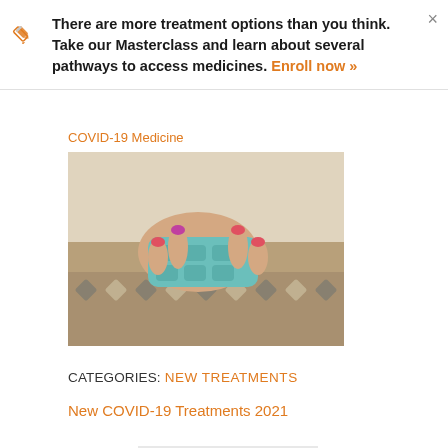There are more treatment options than you think. Take our Masterclass and learn about several pathways to access medicines. Enroll now »
COVID-19 Medicine
[Figure (photo): Person with painted nails holding a teal weekly pill organizer/medication box]
CATEGORIES: NEW TREATMENTS
New COVID-19 Treatments 2021
[Figure (photo): 3D rendering of a coronavirus (COVID-19) particle — red spiky ball on grey background]